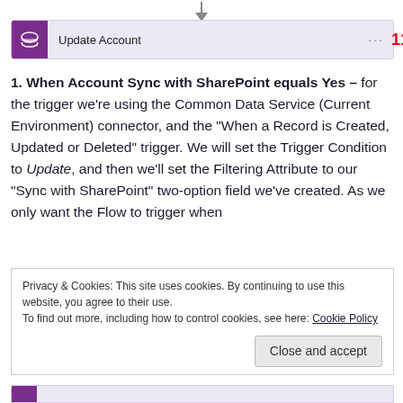[Figure (other): Downward arrow connector]
[Figure (screenshot): Update Account workflow step bar with purple database icon, text 'Update Account', ellipsis menu, and red number 11]
1. When Account Sync with SharePoint equals Yes – for the trigger we're using the Common Data Service (Current Environment) connector, and the "When a Record is Created, Updated or Deleted" trigger. We will set the Trigger Condition to Update, and then we'll set the Filtering Attribute to our "Sync with SharePoint" two-option field we've created. As we only want the Flow to trigger when
Privacy & Cookies: This site uses cookies. By continuing to use this website, you agree to their use.
To find out more, including how to control cookies, see here: Cookie Policy
Close and accept
[Figure (screenshot): Partial bottom workflow step bar with purple icon]